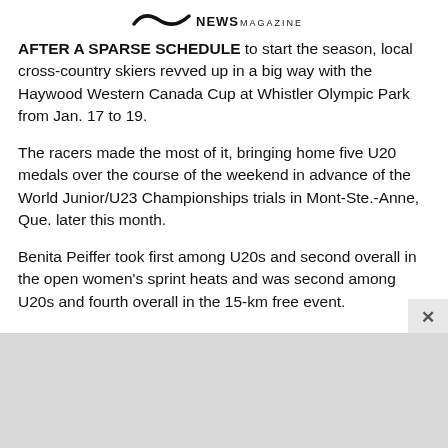NEWS MAGAZINE
AFTER A SPARSE SCHEDULE to start the season, local cross-country skiers revved up in a big way with the Haywood Western Canada Cup at Whistler Olympic Park from Jan. 17 to 19.
The racers made the most of it, bringing home five U20 medals over the course of the weekend in advance of the World Junior/U23 Championships trials in Mont-Ste.-Anne, Que. later this month.
Benita Peiffer took first among U20s and second overall in the open women's sprint heats and was second among U20s and fourth overall in the 15-km free event.